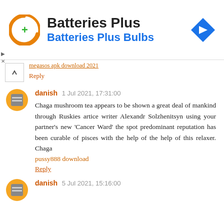[Figure (screenshot): Advertisement banner for Batteries Plus / Batteries Plus Bulbs with orange circular logo icon and blue navigation diamond icon]
megasos apk download 2021 [link]
Reply
danish  1 Jul 2021, 17:31:00
Chaga mushroom tea appears to be shown a great deal of mankind through Ruskies artice writer Alexandr Solzhenitsyn using your partner's new 'Cancer Ward' the spot predominant reputation has been curable of pisces with the help of the help of this relaxer. Chaga
pussy888 download
Reply
danish  5 Jul 2021, 15:16:00